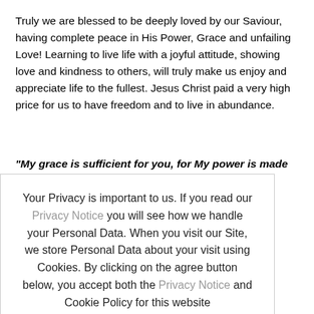Truly we are blessed to be deeply loved by our Saviour, having complete peace in His Power, Grace and unfailing Love! Learning to live life with a joyful attitude, showing love and kindness to others, will truly make us enjoy and appreciate life to the fullest. Jesus Christ paid a very high price for us to have freedom and to live in abundance.
“My grace is sufficient for you, for My power is made perfect in weakness.”
Your Privacy is important to us. If you read our Privacy Notice you will see how we handle your Personal Data. When you visit our Site, we store Personal Data about your visit using Cookies. By clicking on the agree button below, you accept both the Privacy Notice and Cookie Policy for this website